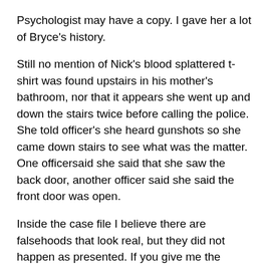Psychologist may have a copy. I gave her a lot of Bryce's history.
Still no mention of Nick's blood splattered t-shirt was found upstairs in his mother's bathroom, nor that it appears she went up and down the stairs twice before calling the police. She told officer's she heard gunshots so she came down stairs to see what was the matter. One officersaid she said that she saw the back door, another officer said she said the front door was open.
Inside the case file I believe there are falsehoods that look real, but they did not happen as presented. If you give me the chance to prove them wrong, I will do it with official documentation and substantial evidence. EXAMPLES of possible falsehoods, to name a few…They took the fact that I have suffered from mental illness,  and used this